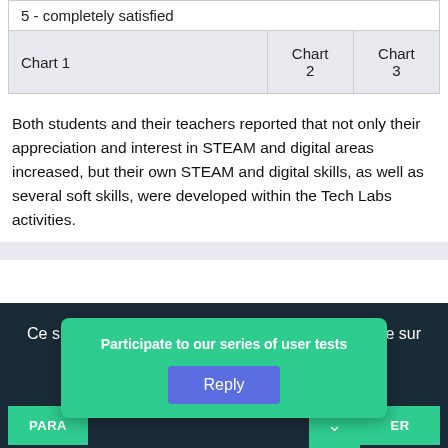|  | Chart 2 | Chart 3 |
| --- | --- | --- |
| 5 - completely satisfied |  |  |
| Chart 1 | Chart 2 | Chart 3 |
Both students and their teachers reported that not only their appreciation and interest in STEAM and digital areas increased, but their own STEAM and digital skills, as well as several soft skills, were developed within the Tech Labs activities.
Ce site utilise des cookies et vous donne le contrôle sur ceux que vous souhaitez.
Politique de confidentialité
Participate to our series of user tests
Reply
PARA ... ER